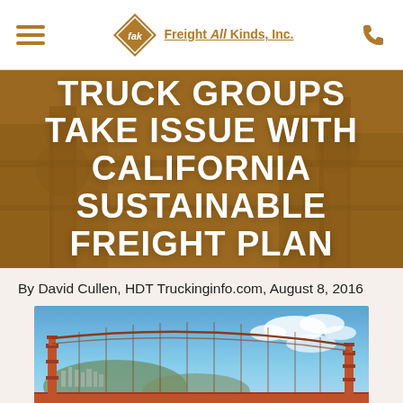Freight All Kinds, Inc.
TRUCK GROUPS TAKE ISSUE WITH CALIFORNIA SUSTAINABLE FREIGHT PLAN
By David Cullen, HDT Truckinginfo.com, August 8, 2016
[Figure (photo): Photo of the Golden Gate Bridge in San Francisco with blue sky and light clouds]